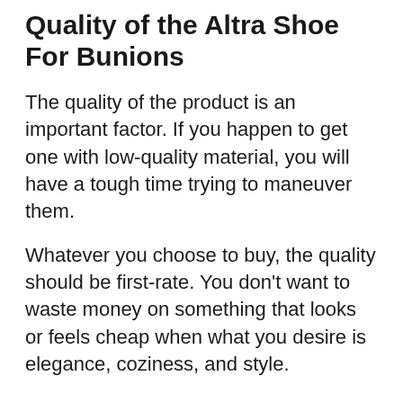Quality of the Altra Shoe For Bunions
The quality of the product is an important factor. If you happen to get one with low-quality material, you will have a tough time trying to maneuver them.
Whatever you choose to buy, the quality should be first-rate. You don't want to waste money on something that looks or feels cheap when what you desire is elegance, coziness, and style.